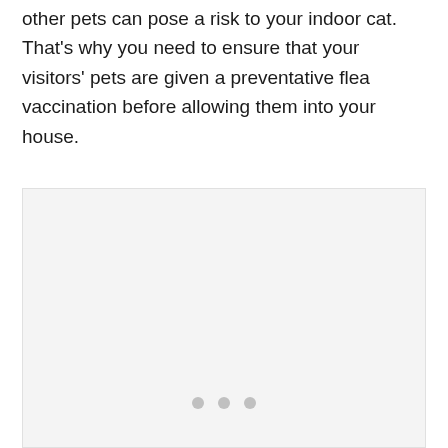other pets can pose a risk to your indoor cat. That's why you need to ensure that your visitors' pets are given a preventative flea vaccination before allowing them into your house.
[Figure (other): A light gray placeholder image block with three small gray dots near the bottom center, indicating a loading or carousel image.]